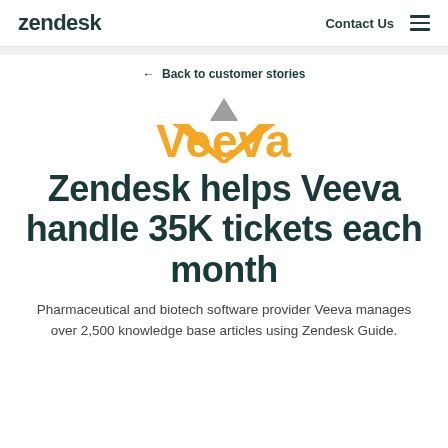zendesk   Contact Us ≡
← Back to customer stories
[Figure (logo): Veeva logo — stylized orange 'Veeva' wordmark with a grey/silver downward-pointing triangle above the first V]
Zendesk helps Veeva handle 35K tickets each month
Pharmaceutical and biotech software provider Veeva manages over 2,500 knowledge base articles using Zendesk Guide.